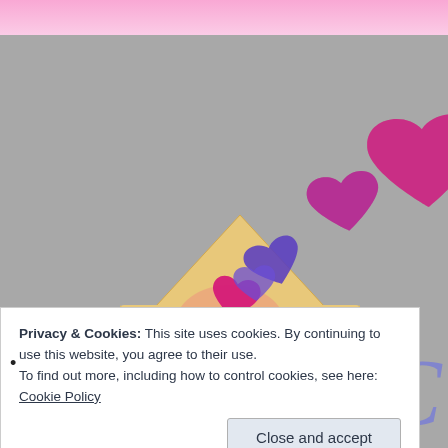[Figure (illustration): Screenshot of a webpage showing a cookie consent notice overlay on top of an illustration of an open envelope with colorful hearts (pink, purple) floating out of it, set against a gray background. A pink gradient banner is at the top. Partial cursive text is visible on the right side.]
Privacy & Cookies: This site uses cookies. By continuing to use this website, you agree to their use.
To find out more, including how to control cookies, see here: Cookie Policy
Close and accept